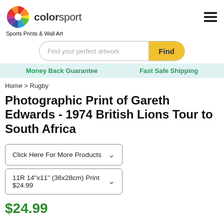colorsport - Sports Prints & Wall Art
Find your perfect artwork
Money Back Guarantee   Fast Safe Shipping
Home > Rugby
Photographic Print of Gareth Edwards - 1974 British Lions Tour to South Africa
Click Here For More Products
11R 14"x11" (36x28cm) Print $24.99
$24.99